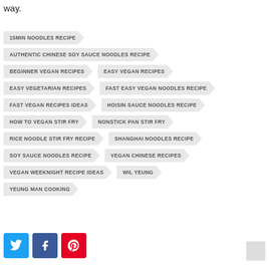way.
15MIN NOODLES RECIPE
AUTHENTIC CHINESE SOY SAUCE NOODLES RECIPE
BEGINNER VEGAN RECIPES
EASY VEGAN RECIPES
EASY VEGETARIAN RECIPES
FAST EASY VEGAN NOODLES RECIPE
FAST VEGAN RECIPES IDEAS
HOISIN SAUCE NOODLES RECIPE
HOW TO VEGAN STIR FRY
NONSTICK PAN STIR FRY
RICE NOODLE STIR FRY RECIPE
SHANGHAI NOODLES RECIPE
SOY SAUCE NOODLES RECIPE
VEGAN CHINESE RECIPES
VEGAN WEEKNIGHT RECIPE IDEAS
WIL YEUNG
YEUNG MAN COOKING